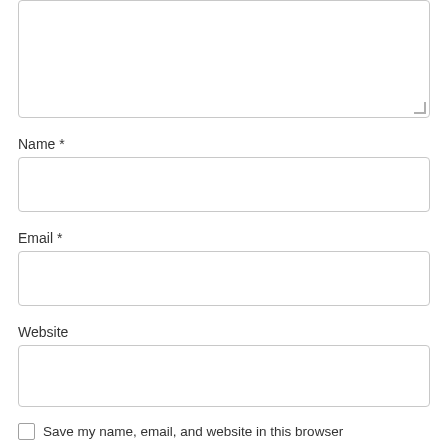[Figure (screenshot): A textarea form field (empty) with a resize handle at the bottom right corner, bordered with a light gray rounded rectangle.]
Name *
[Figure (screenshot): An empty text input field for Name, bordered with a light gray rounded rectangle.]
Email *
[Figure (screenshot): An empty text input field for Email, bordered with a light gray rounded rectangle.]
Website
[Figure (screenshot): An empty text input field for Website, bordered with a light gray rounded rectangle.]
Save my name, email, and website in this browser